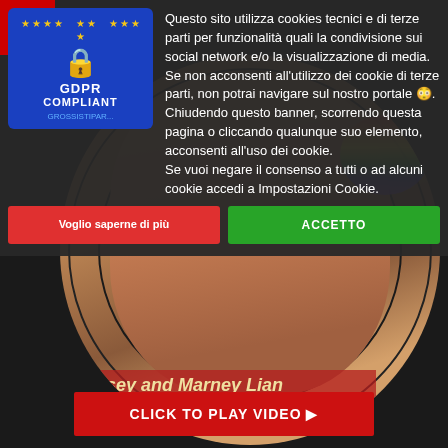[Figure (screenshot): GDPR Compliant badge with blue background, EU stars, padlock icon, and text GDPR COMPLIANT GROSSISTIPAR...]
Questo sito utilizza cookies tecnici e di terze parti per funzionalità quali la condivisione sui social network e/o la visualizzazione di media.
Se non acconsenti all'utilizzo dei cookie di terze parti, non potrai navigare sul nostro portale 😳.
Chiudendo questo banner, scorrendo questa pagina o cliccando qualunque suo elemento, acconsenti all'uso dei cookie.
Se vuoi negare il consenso a tutti o ad alcuni cookie accedi a Impostazioni Cookie.
Voglio saperne di più
ACCETTO
[Figure (photo): Woman's face close-up on vinyl record turntable background with rainbow eye makeup, cross earring]
y Casey and Marney Lian
arauza
CLICK TO PLAY VIDEO ▶